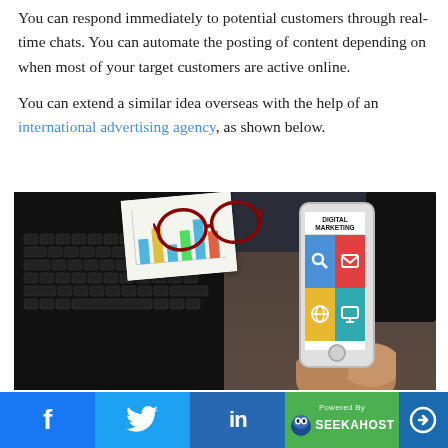You can respond immediately to potential customers through real-time chats. You can automate the posting of content depending on when most of your target customers are active online.
You can extend a similar idea overseas with the help of an international advertising agency, as shown below.
[Figure (photo): Person holding a smartphone showing a 'Digital Marketing' app interface with colorful tiles, in front of a laptop keyboard on a desk with glasses and papers in the background.]
f  [Twitter bird icon]  in  Powered By SEEKAHOST  [arrow icon]